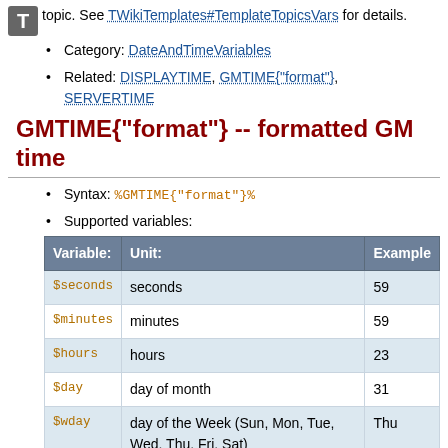topic. See TWikiTemplates#TemplateTopicsVars for details.
Category: DateAndTimeVariables
Related: DISPLAYTIME, GMTIME{"format"}, SERVERTIME
GMTIME{"format"} -- formatted GM time
Syntax: %GMTIME{"format"}%
Supported variables:
| Variable: | Unit: | Example |
| --- | --- | --- |
| $seconds | seconds | 59 |
| $minutes | minutes | 59 |
| $hours | hours | 23 |
| $day | day of month | 31 |
| $wday | day of the Week (Sun, Mon, Tue, Wed, Thu, Fri, Sat) | Thu |
| $dow | day of the week (Sun = 0) | 2 |